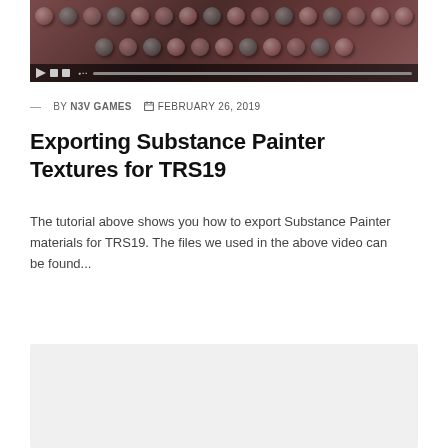[Figure (screenshot): Video thumbnail showing a dark red/maroon interface with spherical material balls and video player controls at the bottom]
— BY N3V GAMES   FEBRUARY 26, 2019
Exporting Substance Painter Textures for TRS19
The tutorial above shows you how to export Substance Painter materials for TRS19. The files we used in the above video can be found...
[Figure (screenshot): Light gray placeholder card/thumbnail area]